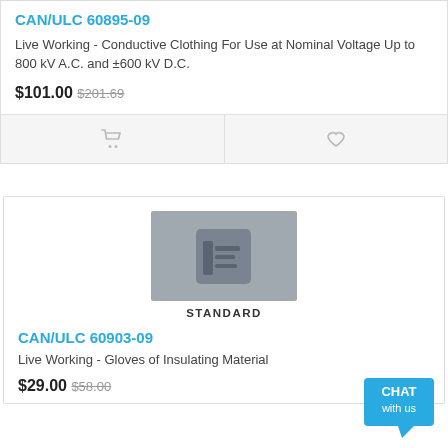CAN/ULC 60895-09
Live Working - Conductive Clothing For Use at Nominal Voltage Up to 800 kV A.C. and ±600 kV D.C.
$101.00  $201.69
[Figure (illustration): Standard document thumbnail icon with book/document symbol, gray background, labeled STANDARD below]
CAN/ULC 60903-09
Live Working - Gloves of Insulating Material
$29.00  $58.00